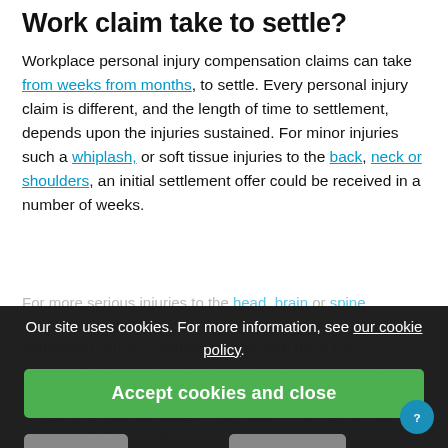Work claim take to settle?
Workplace personal injury compensation claims can take from weeks from months, to settle. Every personal injury claim is different, and the length of time to settlement, depends upon the injuries sustained. For minor injuries such a whiplash, or soft tissue injuries to the back, neck or shoulders, an initial settlement offer could be received in a number of weeks.
For more serious injuries to the head, brain or spine resulting in paraplegia, quadriplegia, and, permanent debilitating injuries, medical reports from up to five specialists would be needed, and, in order to ensure that the compensation awarded accurately reflects the nature and longevity of your workplace injury claim, this may be carried over a period of months.
Our site uses cookies. For more information, see our cookie policy.
Accept cookies and close
Reject cookies
Manage settings